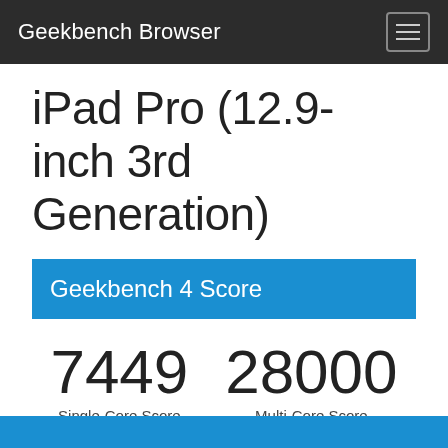Geekbench Browser
iPad Pro (12.9-inch 3rd Generation)
Geekbench 4 Score
7449
Single-Core Score
28000
Multi-Core Score
Geekbench 4.4.1 for iOS AArch64